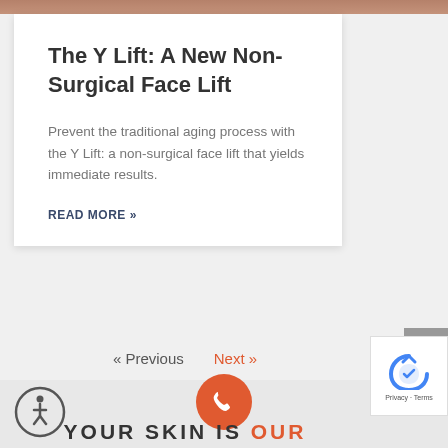[Figure (photo): Top strip showing partial view of a person's face/skin tone background]
The Y Lift: A New Non-Surgical Face Lift
Prevent the traditional aging process with the Y Lift: a non-surgical face lift that yields immediate results.
READ MORE »
« Previous
Next »
[Figure (illustration): Back to top button with upward arrow]
[Figure (illustration): Accessibility wheelchair icon in circle]
[Figure (illustration): Orange phone/call button circle]
YOUR SKIN IS OUR
[Figure (illustration): reCAPTCHA widget showing Privacy · Terms]